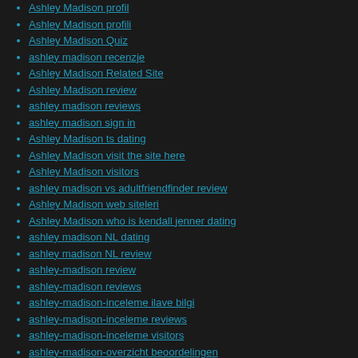Ashley Madison profil
Ashley Madison profili
Ashley Madison Quiz
ashley madison recenzje
Ashley Madison Related Site
Ashley Madison review
ashley madison reviews
ashley madison sign in
Ashley Madison ts dating
Ashley Madison visit the site here
Ashley Madison visitors
ashley madison vs adultfriendfinder review
Ashley Madison web siteleri
Ashley Madison who is kendall jenner dating
ashley madison NL dating
ashley madison NL review
ashley-madison review
ashley-madison reviews
ashley-madison-inceleme ilave bilgi
ashley-madison-inceleme reviews
ashley-madison-inceleme visitors
ashley-madison-overzicht beoordelingen
ashley-madison-recenze PE™ihlГЎЕЎenГ
AshleyMadison sugar dating
asia-chat-room review